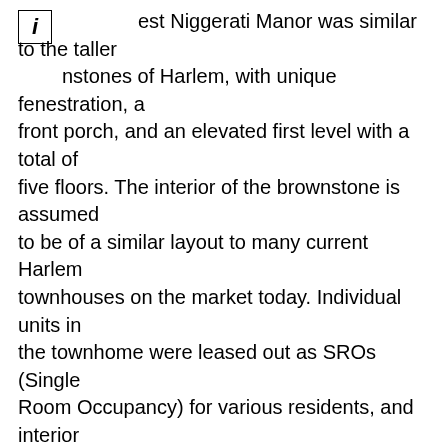...est Niggerati Manor was similar to the taller brownstones of Harlem, with unique fenestration, a front porch, and an elevated first level with a total of five floors. The interior of the brownstone is assumed to be of a similar layout to many current Harlem townhouses on the market today. Individual units in the townhome were leased out as SROs (Single Room Occupancy) for various residents, and interior spaces were used as dual living and working quarters. (4) Furthermore, spaces of the manor were used for small parties, literature discussions, or as salons. (5)
ACTIVITES
The manor was an eccentric artist's studio. Richard Bruce Nugent used interior walls as canvases, painting large erotic murals and multiple, bright phalluses, all presumably lost since the demolition. [6] It is also known that some interior walls were painted the same Black and brazen red color scheme